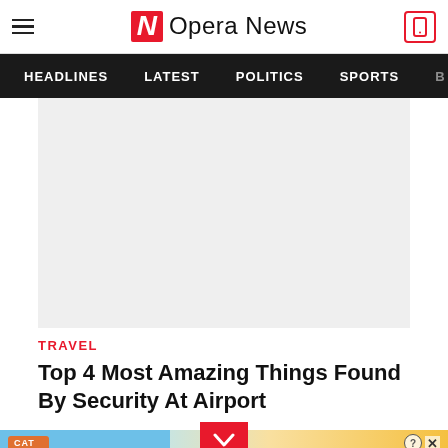Opera News
HEADLINES   LATEST   POLITICS   SPORTS
[Figure (other): Gray advertisement placeholder block]
TRAVEL
Top 4 Most Amazing Things Found By Security At Airport
[Figure (other): Cat game advertisement banner with cartoon cats and Adopt a Cat Now text]